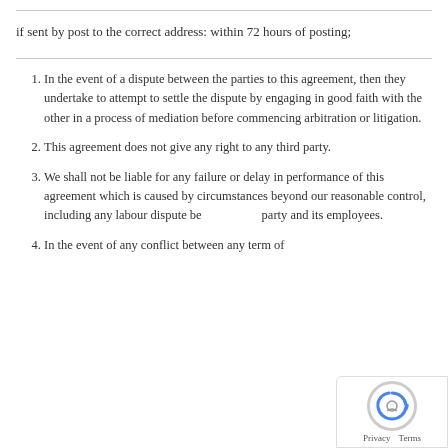if sent by post to the correct address: within 72 hours of posting;
In the event of a dispute between the parties to this agreement, then they undertake to attempt to settle the dispute by engaging in good faith with the other in a process of mediation before commencing arbitration or litigation.
This agreement does not give any right to any third party.
We shall not be liable for any failure or delay in performance of this agreement which is caused by circumstances beyond our reasonable control, including any labour dispute between a party and its employees.
In the event of any conflict between any term of